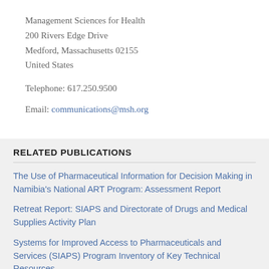Management Sciences for Health
200 Rivers Edge Drive
Medford, Massachusetts 02155
United States
Telephone: 617.250.9500
Email: communications@msh.org
RELATED PUBLICATIONS
The Use of Pharmaceutical Information for Decision Making in Namibia's National ART Program: Assessment Report
Retreat Report: SIAPS and Directorate of Drugs and Medical Supplies Activity Plan
Systems for Improved Access to Pharmaceuticals and Services (SIAPS) Program Inventory of Key Technical Resources